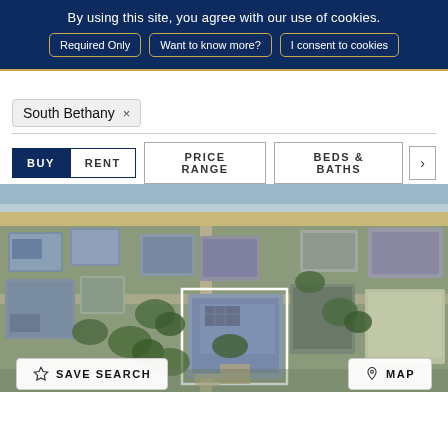By using this site, you agree with our use of cookies.
Required Only | Want to know more? | I consent to cookies
South Bethany ×
BUY  RENT  PRICE RANGE  BEDS & BATHS  >
[Figure (photo): Aerial drone photograph of a beachside residential neighborhood in South Bethany, showing multiple houses with a white property boundary box highlighting one property in the center-foreground. Ocean visible in the background.]
☆ SAVE SEARCH    📍 MAP